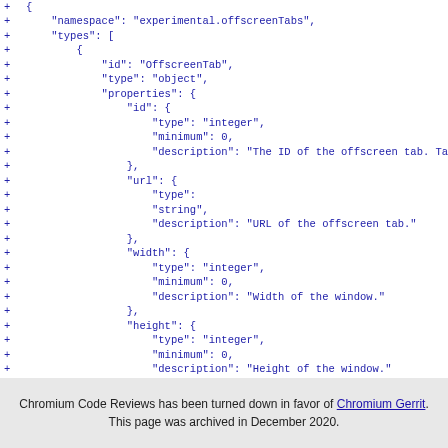+ {
+     "namespace": "experimental.offscreenTabs",
+     "types": [
+         {
+             "id": "OffscreenTab",
+             "type": "object",
+             "properties": {
+                 "id": {
+                     "type": "integer",
+                     "minimum": 0,
+                     "description": "The ID of the offscreen tab. Ta
+                 },
+                 "url": {
+                     "type":
+                     "string",
+                     "description": "URL of the offscreen tab."
+                 },
+                 "width": {
+                     "type": "integer",
+                     "minimum": 0,
+                     "description": "Width of the window."
+                 },
+                 "height": {
+                     "type": "integer",
+                     "minimum": 0,
+                     "description": "Height of the window."
+                 }
+             }
+         }
+     }
Chromium Code Reviews has been turned down in favor of Chromium Gerrit. This page was archived in December 2020.